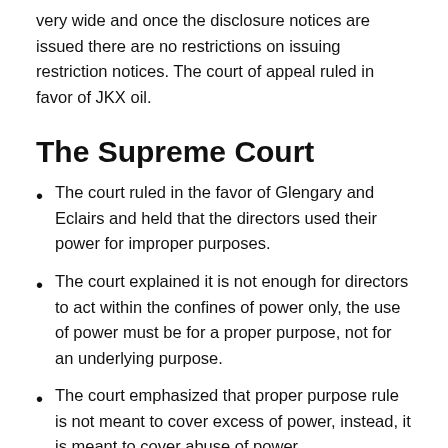very wide and once the disclosure notices are issued there are no restrictions on issuing restriction notices. The court of appeal ruled in favor of JKX oil.
The Supreme Court
The court ruled in the favor of Glengary and Eclairs and held that the directors used their power for improper purposes.
The court explained it is not enough for directors to act within the confines of power only, the use of power must be for a proper purpose, not for an underlying purpose.
The court emphasized that proper purpose rule is not meant to cover excess of power, instead, it is meant to cover abuse of power.